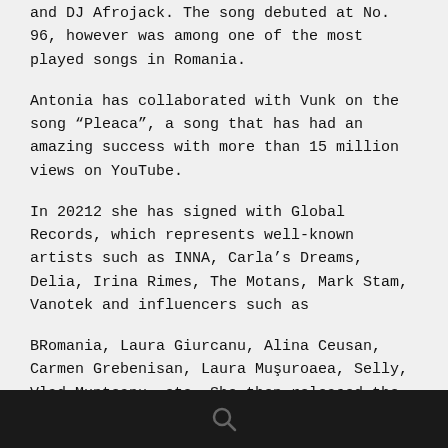and DJ Afrojack. The song debuted at No. 96, however was among one of the most played songs in Romania.
Antonia has collaborated with Vunk on the song “Pleaca”, a song that has had an amazing success with more than 15 million views on YouTube.
In 20212 she has signed with Global Records, which represents well-known artists such as INNA, Carla’s Dreams, Delia, Irina Rimes, The Motans, Mark Stam, Vanotek and influencers such as
BRomania, Laura Giurcanu, Alina Ceusan, Carmen Grebenisan, Laura Muşuroaea, Selly, Vlad Munteanu, etc. She then released the songs “I Got You” and “Jameia”, the last one peaking number 5 on charts.
In 2013 she released the song “Marabou”, with more than 13 million views on YouTube and